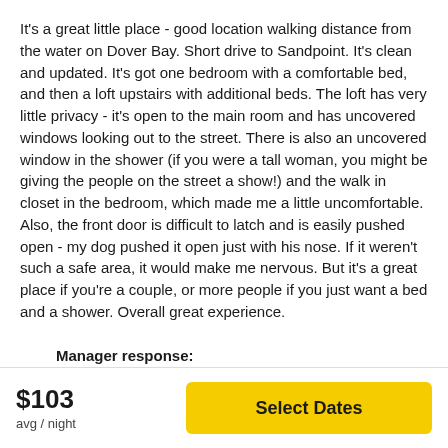It's a great little place - good location walking distance from the water on Dover Bay. Short drive to Sandpoint. It's clean and updated. It's got one bedroom with a comfortable bed, and then a loft upstairs with additional beds. The loft has very little privacy - it's open to the main room and has uncovered windows looking out to the street. There is also an uncovered window in the shower (if you were a tall woman, you might be giving the people on the street a show!) and the walk in closet in the bedroom, which made me a little uncomfortable. Also, the front door is difficult to latch and is easily pushed open - my dog pushed it open just with his nose. If it weren't such a safe area, it would make me nervous. But it's a great place if you're a couple, or more people if you just want a bed and a shower. Overall great experience.
Manager response: We appreciate you staying with us, Sarah. The property
$103
avg / night
Select Dates